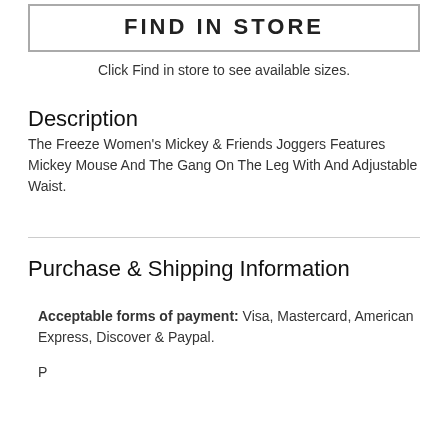[Figure (other): Button with text FIND IN STORE inside a rectangular border]
Click Find in store to see available sizes.
Description
The Freeze Women's Mickey & Friends Joggers Features Mickey Mouse And The Gang On The Leg With And Adjustable Waist.
Purchase & Shipping Information
Acceptable forms of payment: Visa, Mastercard, American Express, Discover & Paypal.